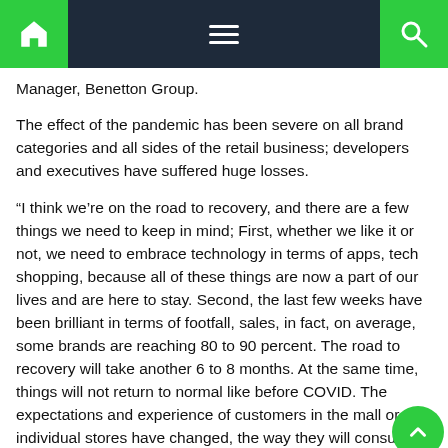Navigation bar with home, menu, and search icons
Manager, Benetton Group.
The effect of the pandemic has been severe on all brand categories and all sides of the retail business; developers and executives have suffered huge losses.
“I think we’re on the road to recovery, and there are a few things we need to keep in mind; First, whether we like it or not, we need to embrace technology in terms of apps, tech shopping, because all of these things are now a part of our lives and are here to stay. Second, the last few weeks have been brilliant in terms of footfall, sales, in fact, on average, some brands are reaching 80 to 90 percent. The road to recovery will take another 6 to 8 months. At the same time, things will not return to normal like before COVID. The expectations and experience of customers in the mall or individual stores have changed, the way they will consume,